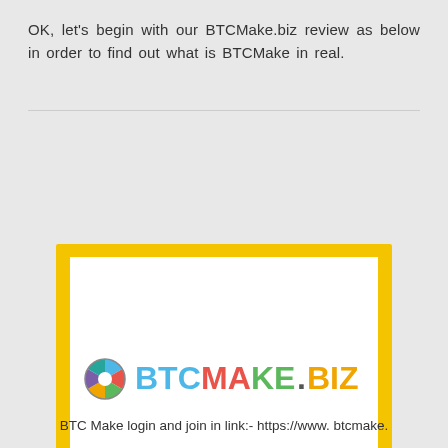OK, let's begin with our BTCMake.biz review as below in order to find out what is BTCMake in real.
[Figure (logo): BTCMake.biz logo inside a white box with yellow/gold border, and a red banner below]
BTC Make login and join in link:- https://www. btcmake.